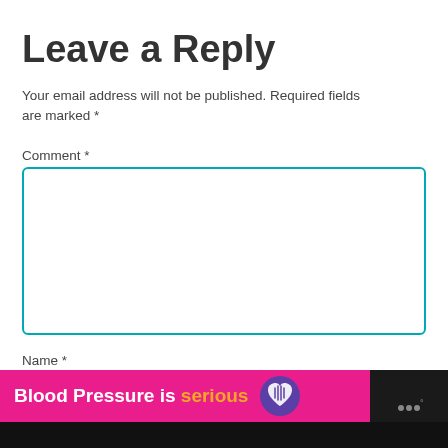Leave a Reply
Your email address will not be published. Required fields are marked *
Comment *
[Figure (screenshot): Empty comment textarea with teal border]
Name *
[Figure (screenshot): Empty name input field with teal border]
[Figure (infographic): Pink ad banner reading 'Blood Pressure is serious' with purple heart logo, on dark background bar]